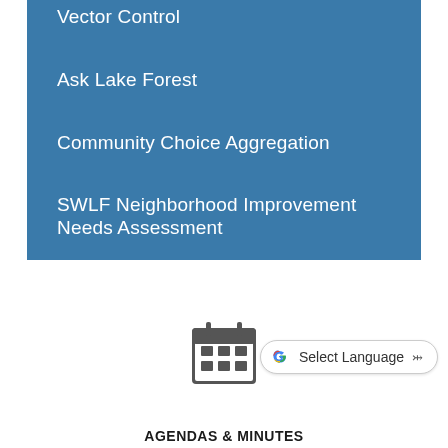Vector Control
Ask Lake Forest
Community Choice Aggregation
SWLF Neighborhood Improvement Needs Assessment
[Figure (illustration): Calendar icon — gray square grid calendar symbol]
[Figure (screenshot): Google Translate 'Select Language' button with Google G logo and dropdown chevron]
AGENDAS & MINUTES